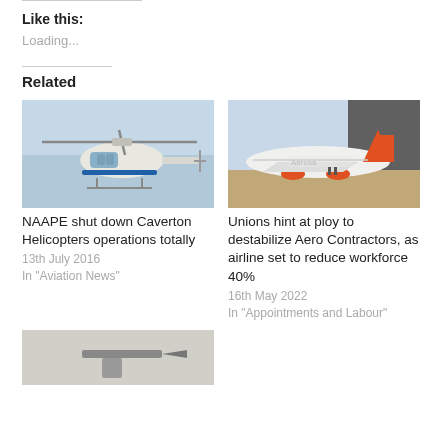Like this:
Loading...
Related
[Figure (photo): Helicopter in flight against blue sky — white and blue helicopter]
NAAPE shut down Caverton Helicopters operations totally
13th July 2016
In "Aviation News"
[Figure (photo): Orange and white commercial airplane on tarmac with Aerosol or similar airline livery and logo on building]
Unions hint at ploy to destabilize Aero Contractors, as airline set to reduce workforce 40%
16th May 2022
In "Appointments and Labour"
[Figure (photo): Partial view of an aircraft tail or weapon on ground — bottom of page, cropped]